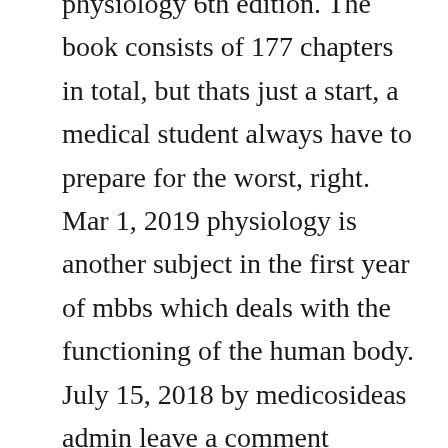physiology 6th edition. The book consists of 177 chapters in total, but thats just a start, a medical student always have to prepare for the worst, right. Mar 1, 2019 physiology is another subject in the first year of mbbs which deals with the functioning of the human body. July 15, 2018 by medicosideas admin leave a comment physiology is another subject in the first year of mbbs which deals with the functioning of the human body. Essentials of medical physiology, 6th edition medical library. About book brand new international